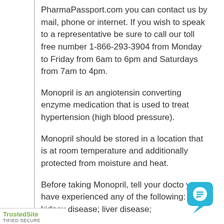PharmaPassport.com you can contact us by mail, phone or internet. If you wish to speak to a representative be sure to call our toll free number 1-866-293-3904 from Monday to Friday from 6am to 6pm and Saturdays from 7am to 4pm.
Monopril is an angiotensin converting enzyme medication that is used to treat hypertension (high blood pressure).
Monopril should be stored in a location that is at room temperature and additionally protected from moisture and heat.
Before taking Monopril, tell your doctor you have experienced any of the following: kidney disease; liver disease;
[Figure (logo): TrustedSite CERTIFIED SECURE badge at bottom left]
[Figure (illustration): Blue live chat bubble icon at bottom right]